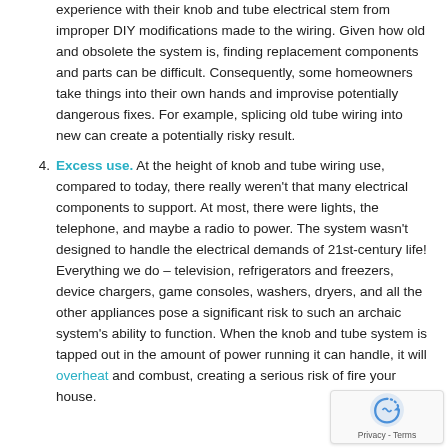experience with their knob and tube electrical stem from improper DIY modifications made to the wiring. Given how old and obsolete the system is, finding replacement components and parts can be difficult. Consequently, some homeowners take things into their own hands and improvise potentially dangerous fixes. For example, splicing old tube wiring into new can create a potentially risky result.
4. Excess use. At the height of knob and tube wiring use, compared to today, there really weren't that many electrical components to support. At most, there were lights, the telephone, and maybe a radio to power. The system wasn't designed to handle the electrical demands of 21st-century life! Everything we do – television, refrigerators and freezers, device chargers, game consoles, washers, dryers, and all the other appliances pose a significant risk to such an archaic system's ability to function. When the knob and tube system is tapped out in the amount of power running it can handle, it will overheat and combust, creating a serious risk of fire your house.